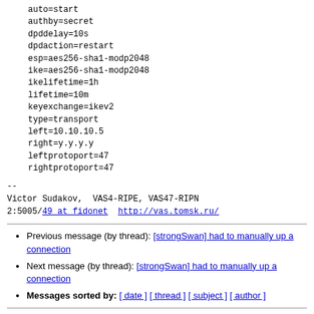auto=start
authby=secret
dpddelay=10s
dpdaction=restart
esp=aes256-sha1-modp2048
ike=aes256-sha1-modp2048
ikelifetime=1h
lifetime=10m
keyexchange=ikev2
type=transport
left=10.10.10.5
right=y.y.y.y
leftprotoport=47
rightprotoport=47
--
Victor Sudakov,  VAS4-RIPE, VAS47-RIPN
2:5005/49 at fidonet  http://vas.tomsk.ru/
Previous message (by thread): [strongSwan] had to manually up a connection
Next message (by thread): [strongSwan] had to manually up a connection
Messages sorted by: [ date ] [ thread ] [ subject ] [ author ]
More information about the Users mailing list